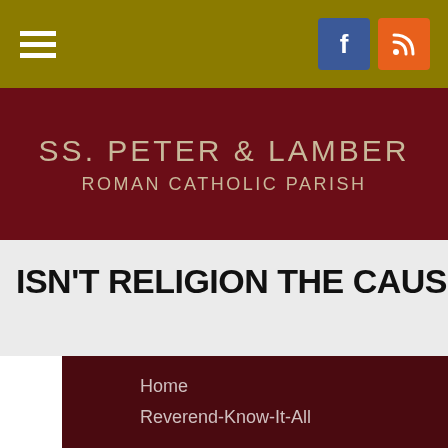[Figure (screenshot): Olive/gold navigation bar with hamburger menu icon on left and Facebook and RSS social media icons on right]
SS. PETER & LAMBERT
ROMAN CATHOLIC PARISH
ISN'T RELIGION THE CAUSE OF A
Home
Reverend-Know-It-All